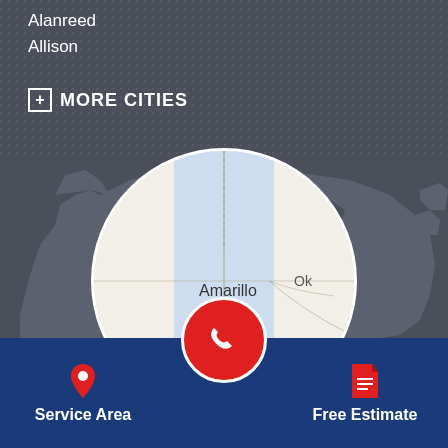Alanreed
Allison
+ MORE CITIES
[Figure (map): Circular map inset showing the Amarillo, Texas area with a highlighted blue region representing service area, overlaid on a US map silhouette background]
Service Area
Free Estimate